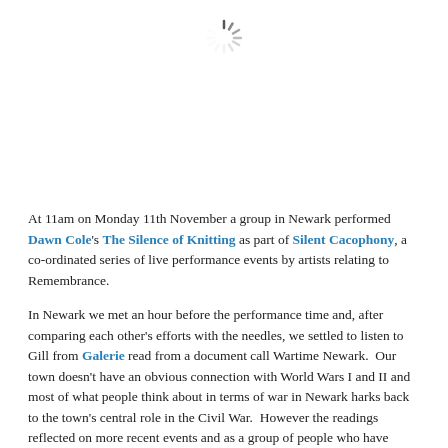[Figure (other): Loading spinner icon centered at top of page]
At 11am on Monday 11th November a group in Newark performed Dawn Cole's The Silence of Knitting as part of Silent Cacophony, a co-ordinated series of live performance events by artists relating to Remembrance.
In Newark we met an hour before the performance time and, after comparing each other's efforts with the needles, we settled to listen to Gill from Galerie read from a document call Wartime Newark.  Our town doesn't have an obvious connection with World Wars I and II and most of what people think about in terms of war in Newark harks back to the town's central role in the Civil War.  However the readings reflected on more recent events and as a group of people who have